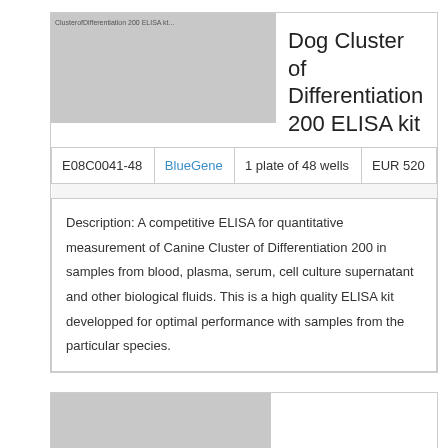[Figure (screenshot): Thumbnail image placeholder for the Dog Cluster of Differentiation 200 ELISA kit product listing, showing grey box with truncated product name text.]
Dog Cluster of Differentiation 200 ELISA kit
|  |  |  |  |
| --- | --- | --- | --- |
| E08C0041-48 | BlueGene | 1 plate of 48 wells | EUR 520 |
Description: A competitive ELISA for quantitative measurement of Canine Cluster of Differentiation 200 in samples from blood, plasma, serum, cell culture supernatant and other biological fluids. This is a high quality ELISA kit developped for optimal performance with samples from the particular species.
[Figure (screenshot): Partial thumbnail of a second product listing at the bottom of the page, showing grey image placeholder.]